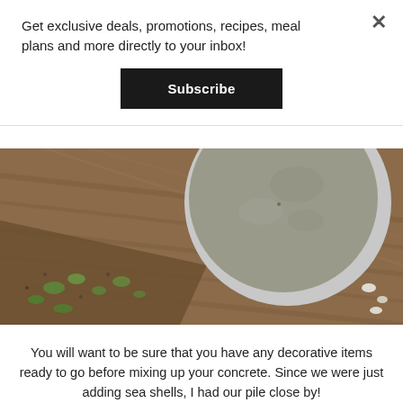Get exclusive deals, promotions, recipes, meal plans and more directly to your inbox!
Subscribe
[Figure (photo): Close-up photo of a concrete stepping stone in a circular aluminum pan sitting on a wooden surface, with a garden bed containing small green seedlings visible in the lower left.]
You will want to be sure that you have any decorative items ready to go before mixing up your concrete. Since we were just adding sea shells, I had our pile close by!